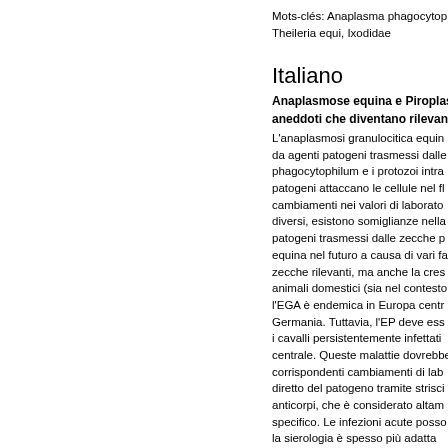Mots-clés: Anaplasma phagocytop… Theileria equi, Ixodidae
Italiano
Anaplasmose equina e Piroplas… aneddoti che diventano rilevant…
L'anaplasmosi granulocitica equin… la sierologia è spesso più adatta…